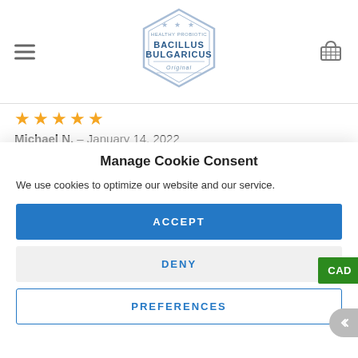[Figure (logo): Bacillus Bulgaricus hexagon logo with stars and text 'HEALTHY PROBIOTIC BACILLUS BULGARICUS Original']
★★★★★
Michael N. – January 14, 2022
I just made some of the bacillus bulgaricus yogurt
Manage Cookie Consent
We use cookies to optimize our website and our service.
ACCEPT
DENY
PREFERENCES